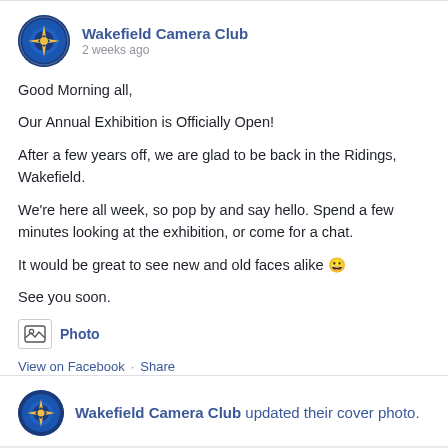Wakefield Camera Club
2 weeks ago
Good Morning all,
Our Annual Exhibition is Officially Open!
After a few years off, we are glad to be back in the Ridings, Wakefield.
We're here all week, so pop by and say hello. Spend a few minutes looking at the exhibition, or come for a chat.
It would be great to see new and old faces alike 😀
See you soon.
Photo
View on Facebook · Share
Wakefield Camera Club updated their cover photo.